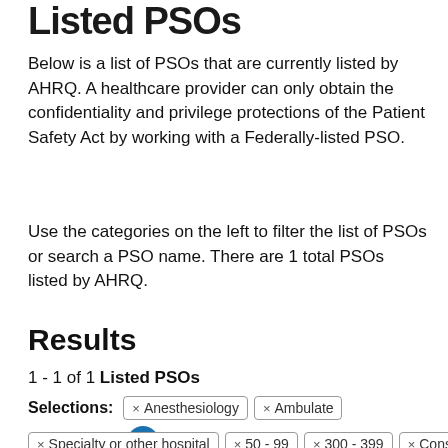Listed PSOs
Below is a list of PSOs that are currently listed by AHRQ. A healthcare provider can only obtain the confidentiality and privilege protections of the Patient Safety Act by working with a Federally-listed PSO.
Use the categories on the left to filter the list of PSOs or search a PSO name. There are 1 total PSOs listed by AHRQ.
Results
1 - 1 of 1 Listed PSOs
Selections: × Anesthesiology × Ambulate × Specialty or other hospital × 50 - 99 × 300 - 399 × Consulting